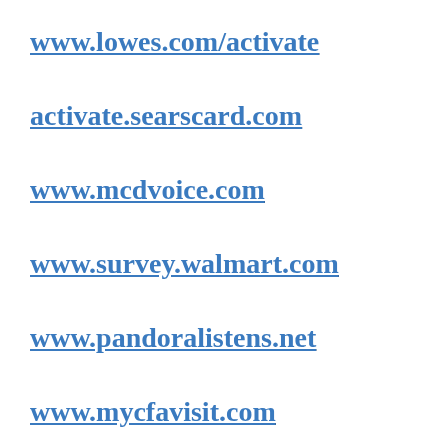www.lowes.com/activate
activate.searscard.com
www.mcdvoice.com
www.survey.walmart.com
www.pandoralistens.net
www.mycfavisit.com